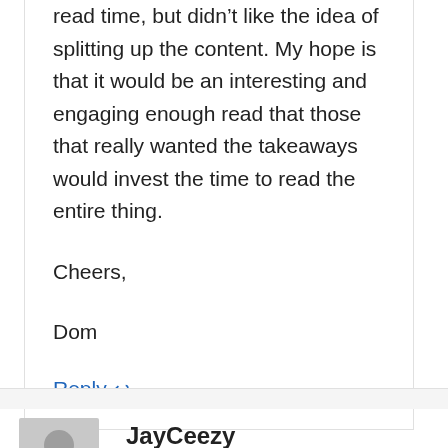read time, but didn't like the idea of splitting up the content. My hope is that it would be an interesting and engaging enough read that those that really wanted the takeaways would invest the time to read the entire thing.

Cheers,

Dom
Reply ↩
JayCeezy